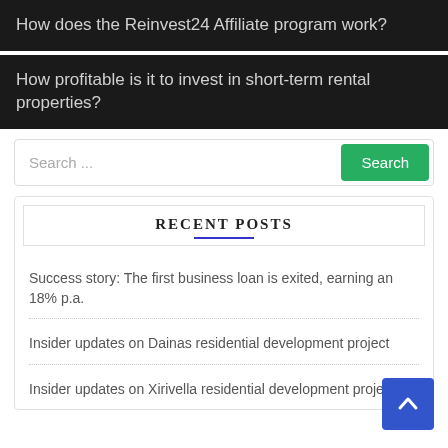How does the Reinvest24 Affiliate program work?
How profitable is it to invest in short-term rental properties?
Search ...
RECENT POSTS
Success story: The first business loan is exited, earning an 18% p.a.
Insider updates on Dainas residential development project
Insider updates on Xirivella residential development project